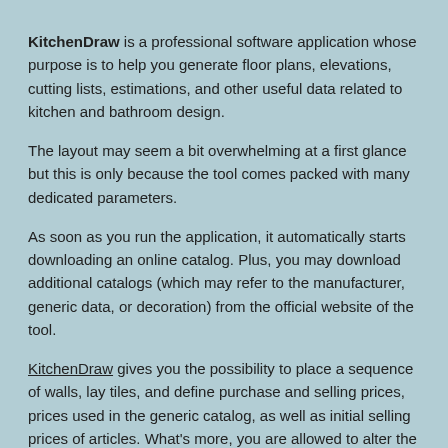KitchenDraw is a professional software application whose purpose is to help you generate floor plans, elevations, cutting lists, estimations, and other useful data related to kitchen and bathroom design.
The layout may seem a bit overwhelming at a first glance but this is only because the tool comes packed with many dedicated parameters.
As soon as you run the application, it automatically starts downloading an online catalog. Plus, you may download additional catalogs (which may refer to the manufacturer, generic data, or decoration) from the official website of the tool.
KitchenDraw gives you the possibility to place a sequence of walls, lay tiles, and define purchase and selling prices, prices used in the generic catalog, as well as initial selling prices of articles. What's more, you are allowed to alter the selling princes and grant rebates, and build up cutting lists and bills of material.
All of the aforementioned functions are backed up by many handy dedicated parameters for helping you tweak the entire process in detail. You are allowed to enter the length of the wall, use an automatic tile